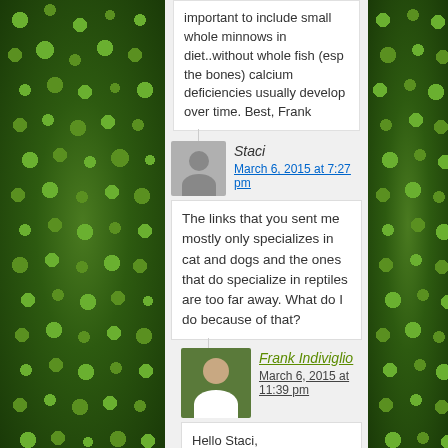important to include small whole minnows in diet..without whole fish (esp the bones) calcium deficiencies usually develop over time. Best, Frank
Staci
March 6, 2015 at 7:27 pm
The links that you sent me mostly only specializes in cat and dogs and the ones that do specialize in reptiles are too far away. What do I do because of that?
Frank Indiviglio
March 6, 2015 at 11:39 pm
Hello Staci,

Unfortunately I do not have other listings; if the reptile vet offices cannot refer you to